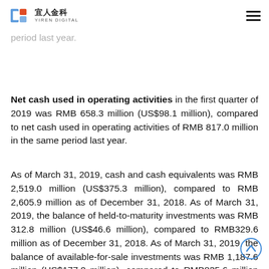Yiren Digital (宜人金科) logo and navigation
come per ADS in the first quarter of 2019 was RMB 3.96(US$0.59), compared to RMB 5.77 in the same period last year.
Net cash used in operating activities in the first quarter of 2019 was RMB 658.3 million (US$98.1 million), compared to net cash used in operating activities of RMB 817.0 million in the same period last year.
As of March 31, 2019, cash and cash equivalents was RMB 2,519.0 million (US$375.3 million), compared to RMB 2,605.9 million as of December 31, 2018. As of March 31, 2019, the balance of held-to-maturity investments was RMB 312.8 million (US$46.6 million), compared to RMB329.6 million as of December 31, 2018. As of March 31, 2019, the balance of available-for-sale investments was RMB 1,187.6 million (US$177.0 million), compared to RMB835.6 million as of December 31, 2018.